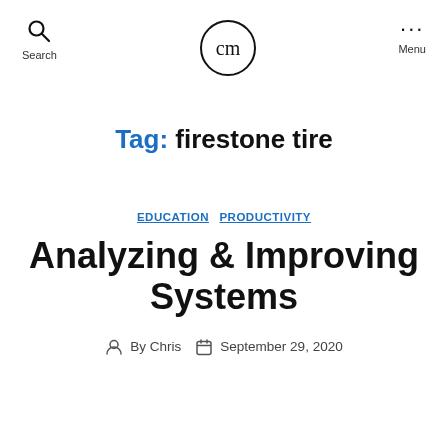Search  cm  Menu
Tag: firestone tire
EDUCATION  PRODUCTIVITY
Analyzing & Improving Systems
By Chris  September 29, 2020